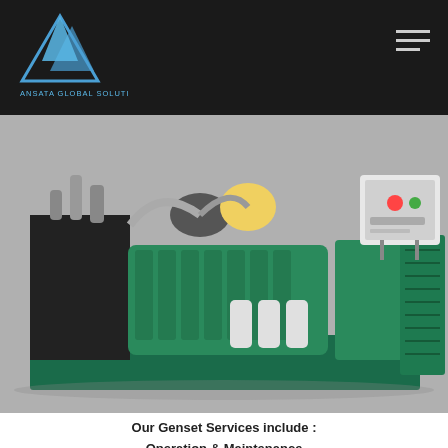Ansata Global Solutions - Navigation header with logo and hamburger menu
[Figure (photo): Large industrial diesel generator/genset unit, teal/green color, showing engine block, alternator, radiator, and control panel mounted on a steel base frame]
Our Genset Services include :
Operation & Maintenance
Genset Repair
Genset Installation
Testing & Commissioning
Preventive Maintenance